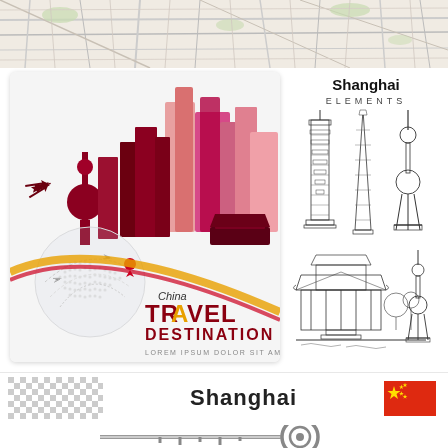[Figure (illustration): Top strip showing a city street map with roads and green areas]
[Figure (illustration): Travel poster with colorful Shanghai skyline silhouette, globe, airplane, location pin, text reading China TRAVEL DESTINATION LOREM IPSUM DOLOR SIT AMET]
[Figure (illustration): Sketch illustrations of Shanghai landmarks: skyscrapers (Jin Mao Tower, Shanghai World Financial Center, Shanghai Tower), Oriental Pearl Tower, and Yu Garden, with text Shanghai ELEMENTS]
[Figure (illustration): Bottom strip with checkered transparency pattern on left, Shanghai text in center, Chinese flag on right]
[Figure (illustration): Bottom area showing a decorative metallic key or spiral design]